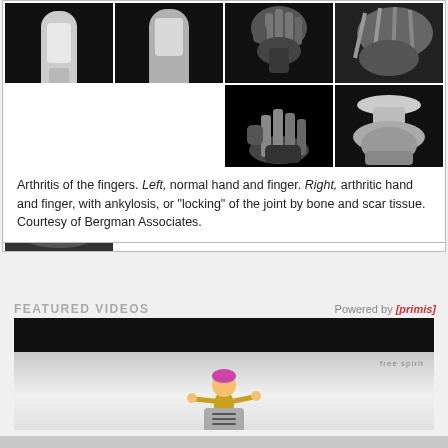[Figure (photo): Grid of X-ray images showing arthritis of the fingers. Top row (left to right): normal hand X-ray, bone segment close-up, bone segment close-up, animal paw X-ray. Bottom row: arthritic hand X-ray, close-up bone with deformity, close-up bone with ankylosis/widening, angled arthritic paw X-ray.]
Arthritis of the fingers. Left, normal hand and finger. Right, arthritic hand and finger, with ankylosis, or "locking" of the joint by bone and scar tissue. Courtesy of Bergman Associates.
FEATURED VIDEOS
[Figure (screenshot): Video player thumbnail showing a cartoon character (animated figure with arms outstretched) against a gradient gray background, with 'free spirit' text label. Menu/hamburger icon at the bottom center. Powered by [primis] logo in the header.]